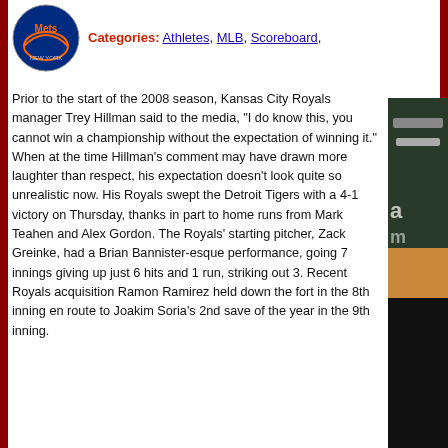[Figure (logo): NY Mets circular logo]
Categories: Athletes, MLB, Scoreboard,
Prior to the start of the 2008 season, Kansas City Royals manager Trey Hillman said to the media, “I do know this, you cannot win a championship without the expectation of winning it.” When at the time Hillman’s comment may have drawn more laughter than respect, his expectation doesn’t look quite so unrealistic now. His Royals swept the Detroit Tigers with a 4-1 victory on Thursday, thanks in part to home runs from Mark Teahen and Alex Gordon. The Royals’ starting pitcher, Zack Greinke, had a Brian Bannister-esque performance, going 7 innings giving up just 6 hits and 1 run, striking out 3. Recent Royals acquisition Ramon Ramirez held down the fort in the 8th inning en route to Joakim Soria’s 2nd save of the year in the 9th inning.
[Figure (photo): Sports action photo on right side]
“Obviously, we’re very pleased by this—especially with our pitching,” Hillma... in here and play this well against a team like that.”
Click to continue reading Royals Red Hot As They Sweep Tigers
Gallery: Royals Red Hot As They Sweep Tigers
[Figure (photo): Gallery photo 1 - person with headphones]
[Figure (photo): Gallery photo 2 - person with headphones]
[Figure (photo): Gallery photo 3 - partial]